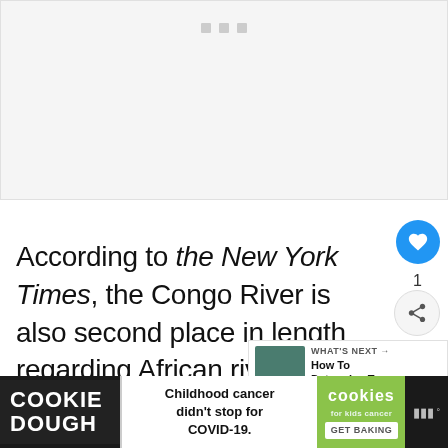[Figure (other): Video or image placeholder with grey background and three small icon squares at top center]
According to the New York Times, the Congo River is also second place in length regarding African rivers. The Congo River is about 2,920 mi (4,700 km).
[Figure (other): Thumbnail image of river/water for 'How To Determine T...' article in WHAT'S NEXT panel]
[Figure (other): Cookie Dough advertisement banner at bottom: 'COOKIE DOUGH - Childhood cancer didn't stop for COVID-19. cookies for kids cancer GET BAKING']